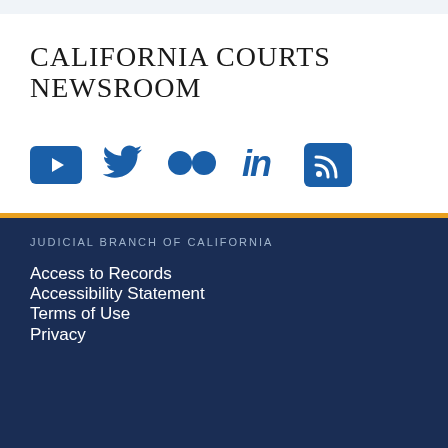CALIFORNIA COURTS NEWSROOM
[Figure (infographic): Row of social media icons: YouTube (blue rounded square with play button), Twitter (blue bird), Flickr (two blue dots), LinkedIn (blue 'in' text), RSS (blue rounded square with wifi/rss symbol)]
JUDICIAL BRANCH OF CALIFORNIA
Access to Records
Accessibility Statement
Terms of Use
Privacy